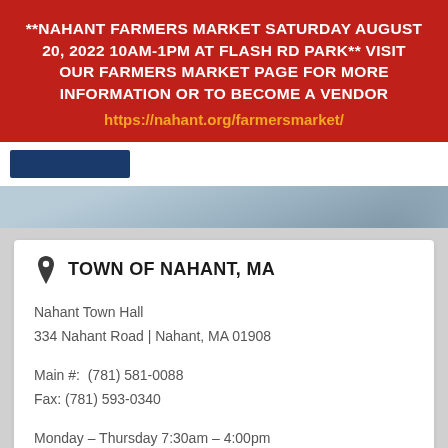**NAHANT FARMERS MARKET SATURDAY AUGUST 20, 2022 10AM-1PM AT FLASH RD PARK** VISIT OUR FARMERS MARKET PAGE FOR MORE INFORMATION OR TO BECOME A VENDOR https://nahant.org/farmersmarket/
TOWN OF NAHANT, MA
Nahant Town Hall
334 Nahant Road | Nahant, MA 01908
Main #:  (781) 581-0088
Fax: (781) 593-0340
Monday – Thursday 7:30am – 4:00pm
Friday 7:30am – 12:30pm